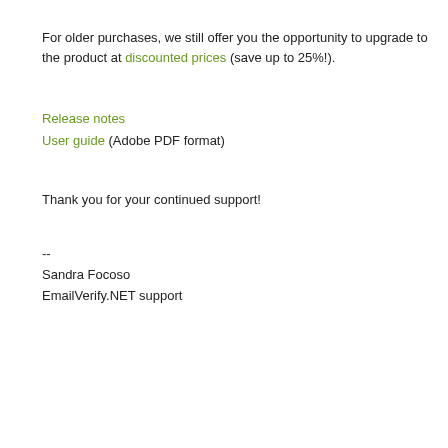For older purchases, we still offer you the opportunity to upgrade to the product at discounted prices (save up to 25%!).
Release notes
User guide (Adobe PDF format)
Thank you for your continued support!
--
Sandra Focoso
EmailVerify.NET support